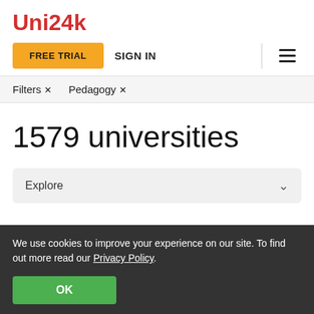Uni24k
FREE TRIAL   SIGN IN
Filters ×   Pedagogy ×
1579 universities
Explore
We use cookies to improve your experience on our site. To find out more read our Privacy Policy.
OK